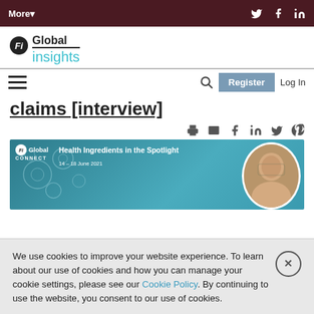More▾  [Twitter] [Facebook] [LinkedIn]
[Figure (logo): Fi Global Insights logo with teal 'insights' text]
≡  🔍  Register  Log In
claims [interview]
[Figure (screenshot): Fi Global CONNECT banner: Health Ingredients in the Spotlight, 14-18 June 2021, with a portrait of a person]
We use cookies to improve your website experience. To learn about our use of cookies and how you can manage your cookie settings, please see our Cookie Policy. By continuing to use the website, you consent to our use of cookies.